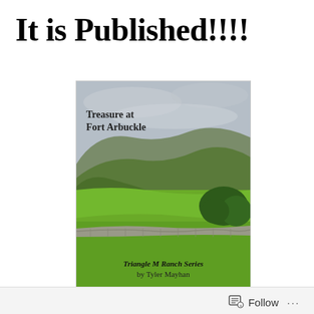It is Published!!!!
[Figure (photo): Book cover of 'Treasure at Fort Arbuckle' from the Triangle M Ranch Series by Tyler Mayhan. Cover shows a rural landscape with green fields, stone wall, rolling hills, and overcast sky.]
Follow  ...